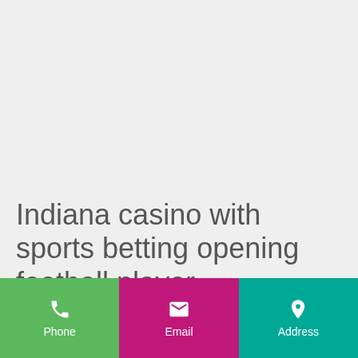Indiana casino with sports betting opening football player
Take a look at the bonus phrases and stipulations for eligibility, indiana casino with sports betting opening football player.
Phone | Email | Address